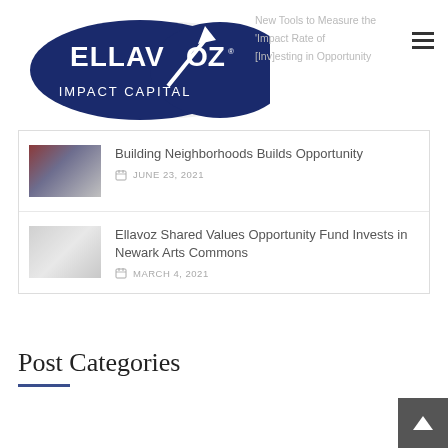[Figure (logo): Ellavoz Impact Capital logo — dark blue double-oval shape with white text ELLAVOZ and arrow, subtitle IMPACT CAPITAL]
New Tools to Measure the 'Impact Rate of [Inv]esting in Opportunity
[Figure (photo): Thumbnail photo of a modern brick apartment building]
Building Neighborhoods Builds Opportunity
JUNE 23, 2021
[Figure (photo): Thumbnail sketch/rendering of an urban building development]
Ellavoz Shared Values Opportunity Fund Invests in Newark Arts Commons
MARCH 4, 2021
Post Categories